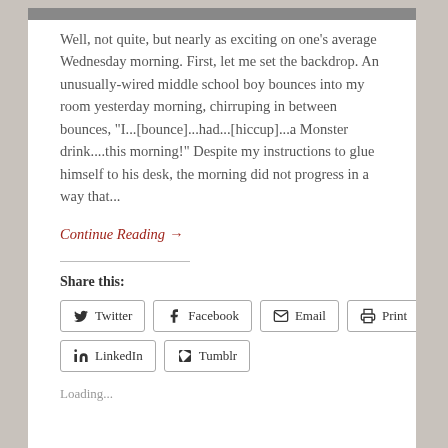[Figure (photo): Partial image strip at top of page, cropped]
Well, not quite, but nearly as exciting on one's average Wednesday morning. First, let me set the backdrop. An unusually-wired middle school boy bounces into my room yesterday morning, chirruping in between bounces, "I...[bounce]...had...[hiccup]...a Monster drink....this morning!" Despite my instructions to glue himself to his desk, the morning did not progress in a way that...
Continue Reading →
Share this:
Twitter
Facebook
Email
Print
LinkedIn
Tumblr
Loading...